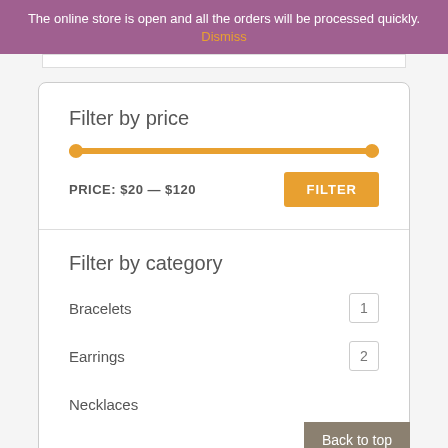The online store is open and all the orders will be processed quickly.
Dismiss
Filter by price
PRICE: $20 — $120
Filter by category
Bracelets 1
Earrings 2
Necklaces 3
Back to top